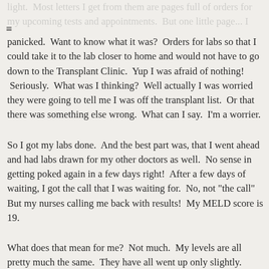light.  Most letters I get from them are pages full of orders for my upcoming tests and appointments.  But one little page... I panicked.  Want to know what it was?  Orders for labs so that I could take it to the lab closer to home and would not have to go down to the Transplant Clinic.  Yup I was afraid of nothing!  Seriously.  What was I thinking?  Well actually I was worried they were going to tell me I was off the transplant list.  Or that there was something else wrong.  What can I say.  I'm a worrier.
So I got my labs done.  And the best part was, that I went ahead and had labs drawn for my other doctors as well.  No sense in getting poked again in a few days right!  After a few days of waiting, I got the call that I was waiting for.  No, not "the call"  But my nurses calling me back with results!  My MELD score is 19.
What does that mean for me?  Not much.  My levels are all pretty much the same.  They have all went up only slightly.  Now its more waiting.  I remember hating this part.  Feeling let down that my score wasn't going up. These days I am feeling even worse than I did back then but I have learned to be thankful for the health that I do have.  For me that means more